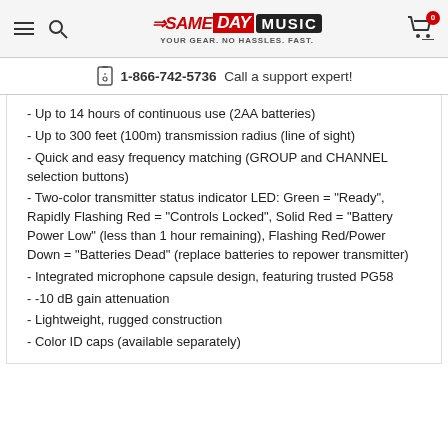Same Day Music — YOUR GEAR. NO HASSLES. FAST.
📱 1-866-742-5736  Call a support expert!
- Up to 14 hours of continuous use (2AA batteries)
- Up to 300 feet (100m) transmission radius (line of sight)
- Quick and easy frequency matching (GROUP and CHANNEL selection buttons)
- Two-color transmitter status indicator LED: Green = "Ready", Rapidly Flashing Red = "Controls Locked", Solid Red = "Battery Power Low" (less than 1 hour remaining), Flashing Red/Power Down = "Batteries Dead" (replace batteries to repower transmitter)
- Integrated microphone capsule design, featuring trusted PG58
- -10 dB gain attenuation
- Lightweight, rugged construction
- Color ID caps (available separately)